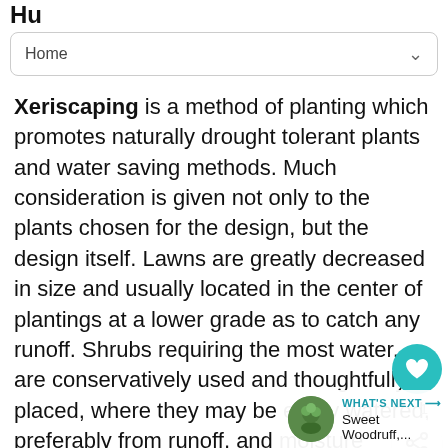Hu
Home
Xeriscaping is a method of planting which promotes naturally drought tolerant plants and water saving methods. Much consideration is given not only to the plants chosen for the design, but the design itself. Lawns are greatly decreased in size and usually located in the center of plantings at a lower grade as to catch any runoff. Shrubs requiring the most water, are conservatively used and thoughtfully placed, where they may be easily watered, preferably from runoff, and moisture conserved. There is a strong emphasis on using native plants, which a purist w... exclusively. At the very least, improved cultivors of natives are highly recommended